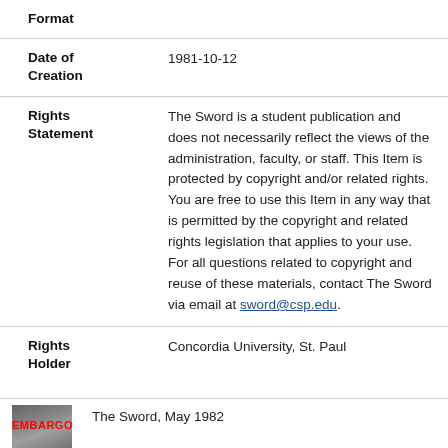| Field | Value |
| --- | --- |
| Format |  |
| Date of Creation | 1981-10-12 |
| Rights Statement | The Sword is a student publication and does not necessarily reflect the views of the administration, faculty, or staff. This Item is protected by copyright and/or related rights. You are free to use this Item in any way that is permitted by the copyright and related rights legislation that applies to your use. For all questions related to copyright and reuse of these materials, contact The Sword via email at sword@csp.edu. |
| Rights Holder | Concordia University, St. Paul |
[Figure (photo): Thumbnail image with EMBARGOED watermark in red text]
The Sword, May 1982